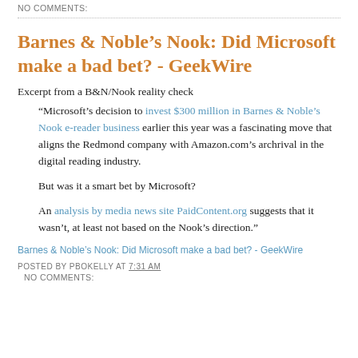NO COMMENTS:
Barnes & Noble's Nook: Did Microsoft make a bad bet? - GeekWire
Excerpt from a B&N/Nook reality check
“Microsoft’s decision to invest $300 million in Barnes & Noble’s Nook e-reader business earlier this year was a fascinating move that aligns the Redmond company with Amazon.com’s archrival in the digital reading industry.
But was it a smart bet by Microsoft?
An analysis by media news site PaidContent.org suggests that it wasn’t, at least not based on the Nook’s direction.”
Barnes & Noble’s Nook: Did Microsoft make a bad bet? - GeekWire
POSTED BY PBOKELLY AT 7:31 AM
NO COMMENTS: